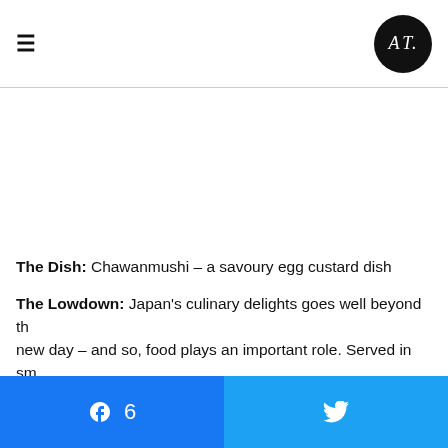≡  AT (logo)
The Dish: Chawanmushi – a savoury egg custard dish
The Lowdown: Japan's culinary delights goes well beyond the new day – and so, food plays an important role. Served in small cups with mushrooms and steamed fish cake. A mixture of dashi stock, steamed. Chawanmushi can be eaten either hot or cool, but
Where: Taiyoshi Nakamura, located in the Nakamura d